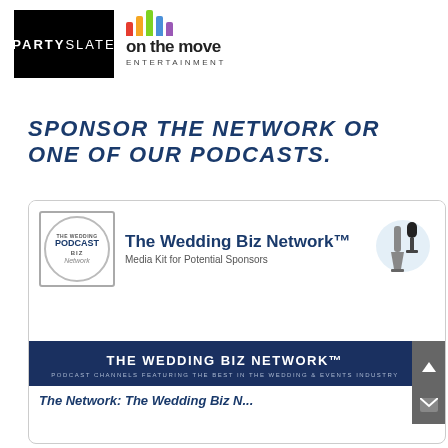[Figure (logo): PartySlate logo — white text on black square background]
[Figure (logo): On The Move Entertainment logo with colorful bar chart icon]
SPONSOR THE NETWORK OR ONE OF OUR PODCASTS.
[Figure (screenshot): Screenshot of The Wedding Biz Network Media Kit page showing logo, header text, navy band with network name, and partial bottom text]